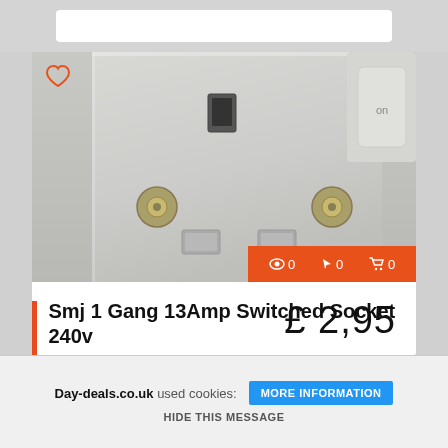[Figure (photo): Close-up photo of a white UK 13A single gang switched electrical socket with gold screw terminals and a white rocker switch labeled 'on']
Smj 1 Gang 13Amp Switched Socket 240v
£ 2,95
Day-deals.co.uk used cookies: MORE INFORMATION
HIDE THIS MESSAGE